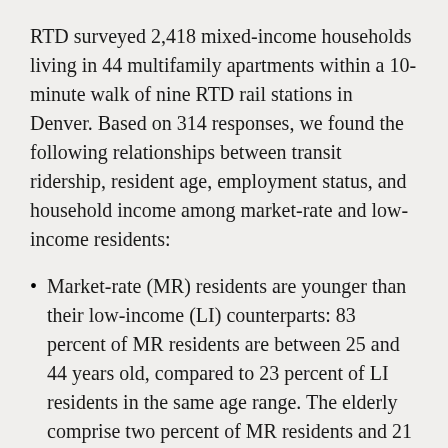RTD surveyed 2,418 mixed-income households living in 44 multifamily apartments within a 10-minute walk of nine RTD rail stations in Denver. Based on 314 responses, we found the following relationships between transit ridership, resident age, employment status, and household income among market-rate and low-income residents:
Market-rate (MR) residents are younger than their low-income (LI) counterparts: 83 percent of MR residents are between 25 and 44 years old, compared to 23 percent of LI residents in the same age range. The elderly comprise two percent of MR residents and 21